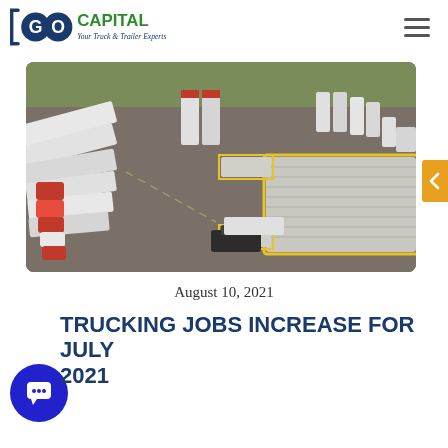GO CAPITAL — Your Truck & Trailer Experts
[Figure (photo): Aerial view of a truck and trailer logistics yard with multiple white semi-trailers parked, some backed into loading docks, and trucks parked along the left side. A single truck is maneuvering in the lot.]
August 10, 2021
TRUCKING JOBS INCREASE FOR JULY 2021